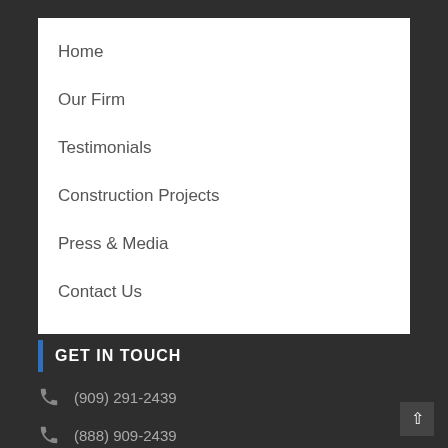Home
Our Firm
Testimonials
Construction Projects
Press & Media
Contact Us
GET IN TOUCH
(909) 291-2439
(888) 909-2439
newcase@hafiflegal.com